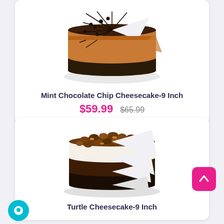[Figure (photo): Mint Chocolate Chip Cheesecake - 9 inch, sliced, on a white plate, with chocolate topping and chocolate cookie crust]
Mint Chocolate Chip Cheesecake-9 Inch
$59.99  $65.99
[Figure (photo): Turtle Cheesecake - 9 inch, partially sliced, on a white plate, topped with caramel and chocolate pecan topping, dark chocolate layer visible]
Turtle Cheesecake-9 Inch